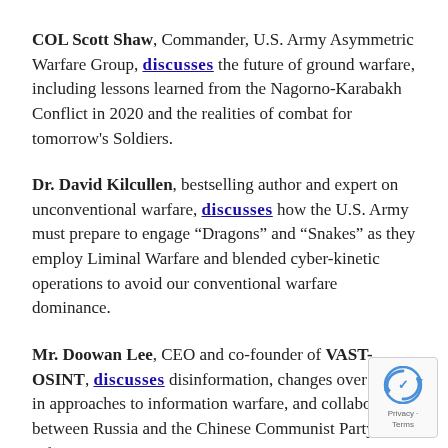COL Scott Shaw, Commander, U.S. Army Asymmetric Warfare Group, discusses the future of ground warfare, including lessons learned from the Nagorno-Karabakh Conflict in 2020 and the realities of combat for tomorrow's Soldiers.
Dr. David Kilcullen, bestselling author and expert on unconventional warfare, discusses how the U.S. Army must prepare to engage "Dragons" and "Snakes" as they employ Liminal Warfare and blended cyber-kinetic operations to avoid our conventional warfare dominance.
Mr. Doowan Lee, CEO and co-founder of VAST-OSINT, discusses disinformation, changes over time in approaches to information warfare, and collaboration between Russia and the Chinese Communist Party information operations.